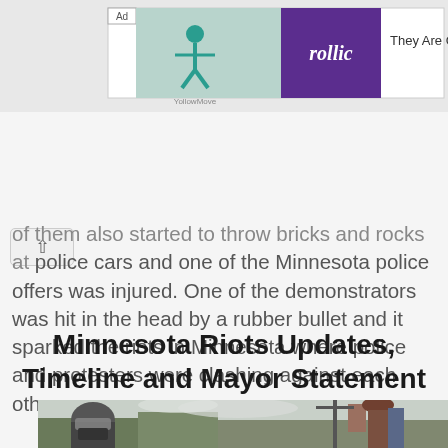[Figure (other): Advertisement banner showing Rollic game ad with text 'They Are Com']
of them also started to throw bricks and rocks at police cars and one of the Minnesota police offers was injured. One of the demonstrators was hit in the head by a rubber bullet and it sparked the riots in Minnesota where police and protesters were clashing against each other.
Minnesota Riots Updates, Timeline and Mayor Statement
[Figure (photo): Photo of protest scene showing person in riot gear helmet and mask on left, and raised fists on right including a tattooed arm, against cloudy sky with trees and utility pole]